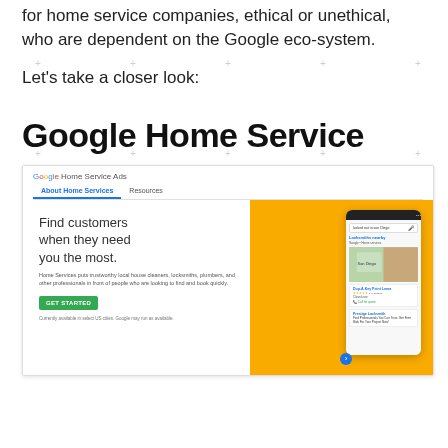for home service companies, ethical or unethical, who are dependent on the Google eco-system.
Let's take a closer look:
Google Home Service
[Figure (screenshot): Screenshot of the Google Home Service Ads website showing 'Find customers when they need you the most.' with a GET STARTED button, alongside a yellow background with a phone mockup showing Google Home Service search results for locksmiths in San Diego.]